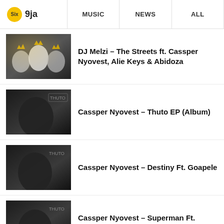Six 9ja | MUSIC | NEWS | ALL
DJ Melzi – The Streets ft. Cassper Nyovest, Alie Keys & Abidoza
Cassper Nyovest – Thuto EP (Album)
Cassper Nyovest – Destiny Ft. Goapele
Cassper Nyovest – Superman Ft. Tsepo Tshola